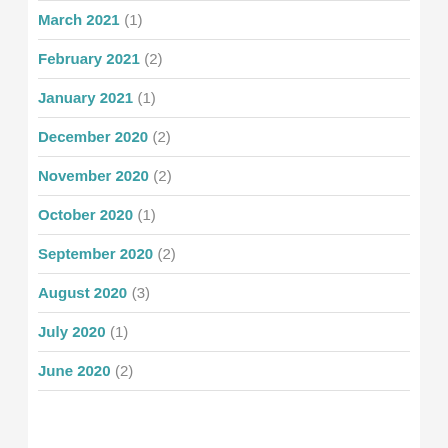March 2021 (1)
February 2021 (2)
January 2021 (1)
December 2020 (2)
November 2020 (2)
October 2020 (1)
September 2020 (2)
August 2020 (3)
July 2020 (1)
June 2020 (2)